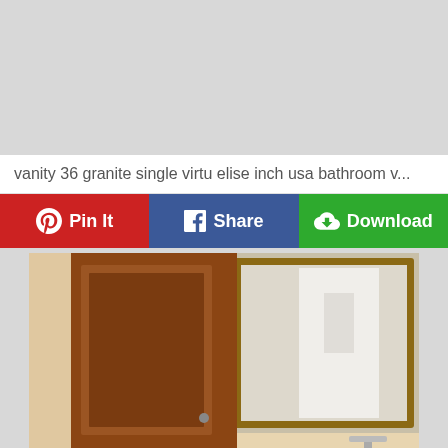[Figure (other): Gray placeholder/advertisement area at top of page]
vanity 36 granite single virtu elise inch usa bathroom v...
[Figure (infographic): Three action buttons: Pin It (red, Pinterest icon), Share (blue, Facebook icon), Download (green, download icon)]
[Figure (photo): Bathroom vanity photo showing wooden cabinet with brown/walnut finish, granite countertop, and a large framed mirror reflecting a white door]